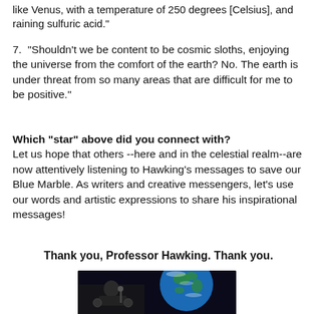like Venus, with a temperature of 250 degrees [Celsius], and raining sulfuric acid."
7. "Shouldn't we be content to be cosmic sloths, enjoying the universe from the comfort of the earth? No. The earth is under threat from so many areas that are difficult for me to be positive."
Which "star" above did you connect with? Let us hope that others --here and in the celestial realm--are now attentively listening to Hawking's messages to save our Blue Marble. As writers and creative messengers, let's use our words and artistic expressions to share his inspirational messages!
Thank you, Professor Hawking. Thank you.
[Figure (photo): Photo of Stephen Hawking in front of a large image of Earth (Blue Marble) against a dark background]